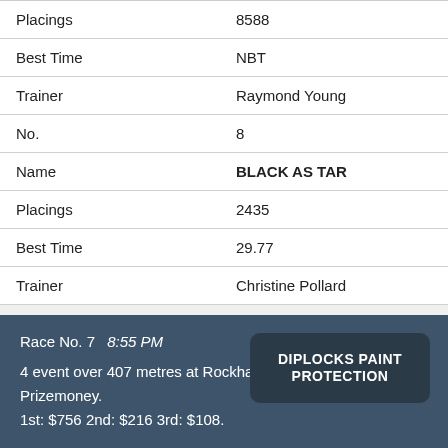| Field | Value |
| --- | --- |
| Placings | 8588 |
| Best Time | NBT |
| Trainer | Raymond Young |
| No. | 8 |
| Name | BLACK AS TAR |
| Placings | 2435 |
| Best Time | 29.77 |
| Trainer | Christine Pollard |
Race No. 7   8:55 PM   DIPLOCKS PAINT PROTECTION
4 event over 407 metres at Rockhampton Of $1,080 Prizemoney.
1st: $756 2nd: $216 3rd: $108.
| Field | Value |
| --- | --- |
| No. | 1 |
| Name | VELOCITY ECLIPSE |
| Placings | 5413 |